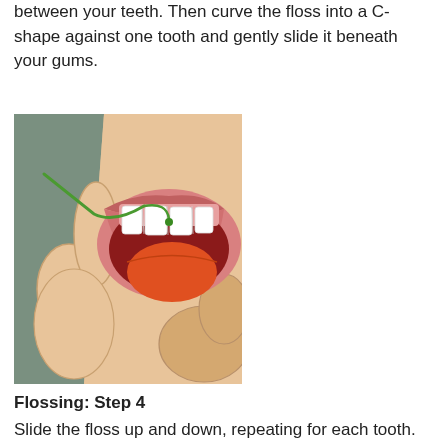between your teeth. Then curve the floss into a C-shape against one tooth and gently slide it beneath your gums.
[Figure (illustration): Illustration of a person flossing teeth, showing fingers holding dental floss being guided between upper front teeth while the mouth is open, showing tongue and gums. Cartoon/simplified art style with flesh tones, red mouth interior, and green floss.]
Flossing: Step 4
Slide the floss up and down, repeating for each tooth.